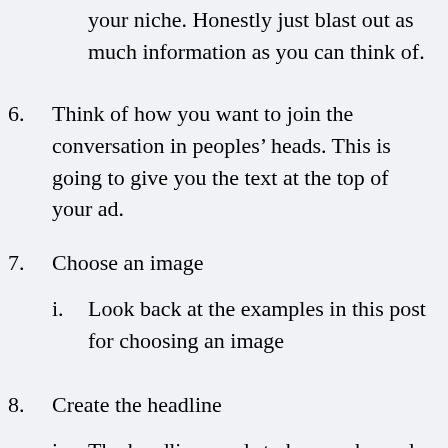your niche. Honestly just blast out as much information as you can think of.
6. Think of how you want to join the conversation in peoples’ heads. This is going to give you the text at the top of your ad.
7. Choose an image
i. Look back at the examples in this post for choosing an image
8. Create the headline
i. The headline needs to be punchy and